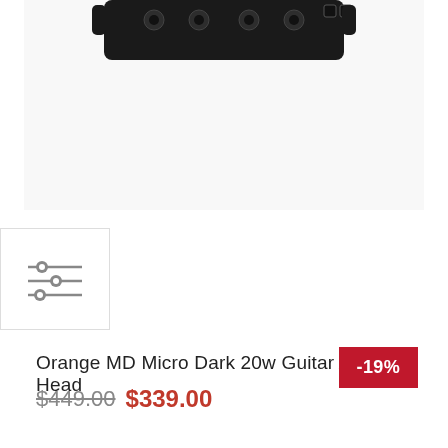[Figure (photo): Orange MD Micro Dark 20w guitar amplifier head product photo on white background, showing the top and front of a compact black amplifier with knobs and input jacks.]
[Figure (photo): Small thumbnail image of the amplifier with filter/settings icon inside a white bordered box.]
Orange MD Micro Dark 20w Guitar Amplifier Head
$449.00 $339.00
-19%